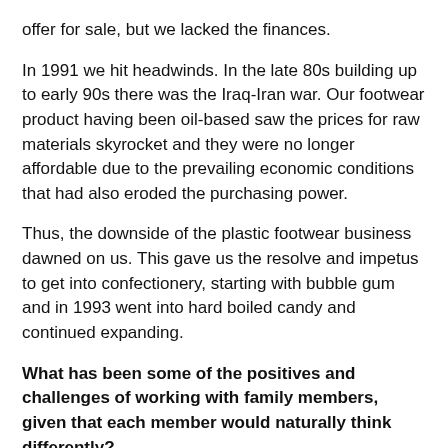offer for sale, but we lacked the finances.
In 1991 we hit headwinds. In the late 80s building up to early 90s there was the Iraq-Iran war. Our footwear product having been oil-based saw the prices for raw materials skyrocket and they were no longer affordable due to the prevailing economic conditions that had also eroded the purchasing power.
Thus, the downside of the plastic footwear business dawned on us. This gave us the resolve and impetus to get into confectionery, starting with bubble gum and in 1993 went into hard boiled candy and continued expanding.
What has been some of the positives and challenges of working with family members, given that each member would naturally think differently?
This depends on the size of the business, your dreams, the challenge and how you manage the challenges. The lucky part was that the four of us were specialized in different fields, thus